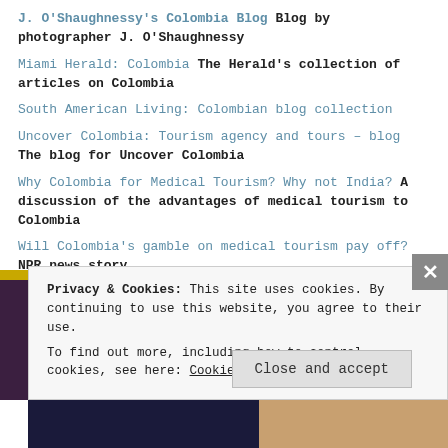J. O'Shaughnessy's Colombia Blog Blog by photographer J. O'Shaughnessy
Miami Herald: Colombia The Herald's collection of articles on Colombia
South American Living: Colombian blog collection
Uncover Colombia: Tourism agency and tours – blog The blog for Uncover Colombia
Why Colombia for Medical Tourism? Why not India? A discussion of the advantages of medical tourism to Colombia
Will Colombia's gamble on medical tourism pay off? NPR news story
Yahoo! Travel Guide to Colombia information on travel and tourism to Colombia
Privacy & Cookies: This site uses cookies. By continuing to use this website, you agree to their use.
To find out more, including how to control cookies, see here: Cookie Policy
Close and accept